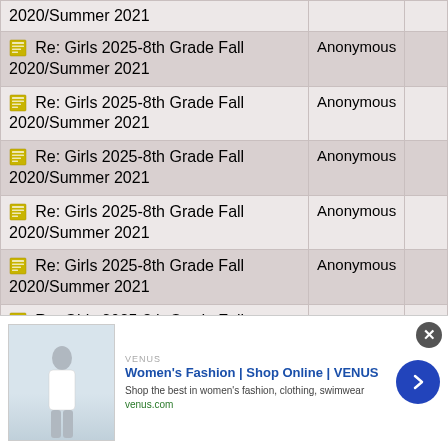| Topic | Author |  |
| --- | --- | --- |
| 2020/Summer 2021 | Anonymous |  |
| Re: Girls 2025-8th Grade Fall 2020/Summer 2021 | Anonymous |  |
| Re: Girls 2025-8th Grade Fall 2020/Summer 2021 | Anonymous |  |
| Re: Girls 2025-8th Grade Fall 2020/Summer 2021 | Anonymous |  |
| Re: Girls 2025-8th Grade Fall 2020/Summer 2021 | Anonymous |  |
| Re: Girls 2025-8th Grade Fall 2020/Summer 2021 | Anonymous |  |
| Re: Girls 2025-8th Grade Fall 2020/Summer 2021 | Anonymous |  |
| Re: Girls 2025-8th Grade Fall 2020/Summer 2021 | Anonymous |  |
| Re: Girls 2025-8th Grade Fall (partial) | Anonymous |  |
[Figure (infographic): Advertisement banner for Women's Fashion by VENUS. Shows logo, tagline 'Women's Fashion | Shop Online | VENUS', subtitle 'Shop the best in women's fashion, clothing, swimwear', URL 'venus.com', a photo of a woman in fashion clothing, a blue circular arrow button, and a close (X) button.]